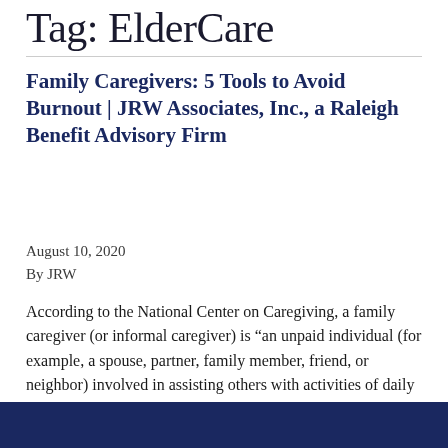Tag: ElderCare
Family Caregivers: 5 Tools to Avoid Burnout | JRW Associates, Inc., a Raleigh Benefit Advisory Firm
August 10, 2020
By JRW
According to the National Center on Caregiving, a family caregiver (or informal caregiver) is “an unpaid individual (for example, a spouse, partner, family member, friend, or neighbor) involved in assisting others with activities of daily living and/or medical tasks.”  In the US, 85% of caregivers care for a relative or loved one with 42% of … Continued
[Figure (photo): Dark navy blue footer image at the bottom of the page]